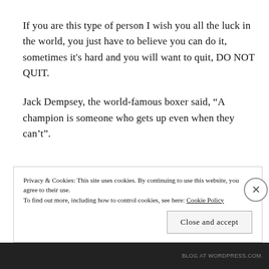If you are this type of person I wish you all the luck in the world, you just have to believe you can do it, sometimes it's hard and you will want to quit, DO NOT QUIT.
Jack Dempsey, the world-famous boxer said, “A champion is someone who gets up even when they can’t”.
Privacy & Cookies: This site uses cookies. By continuing to use this website, you agree to their use.
To find out more, including how to control cookies, see here: Cookie Policy
Close and accept